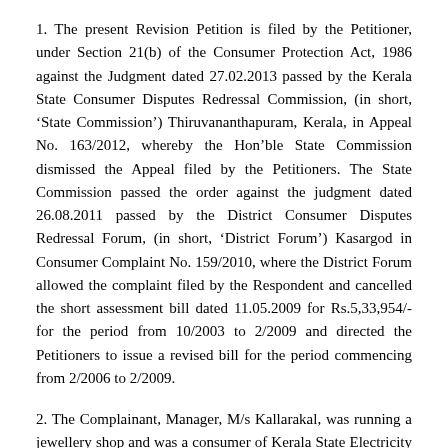1. The present Revision Petition is filed by the Petitioner, under Section 21(b) of the Consumer Protection Act, 1986 against the Judgment dated 27.02.2013 passed by the Kerala State Consumer Disputes Redressal Commission, (in short, 'State Commission') Thiruvananthapuram, Kerala, in Appeal No. 163/2012, whereby the Hon'ble State Commission dismissed the Appeal filed by the Petitioners. The State Commission passed the order against the judgment dated 26.08.2011 passed by the District Consumer Disputes Redressal Forum, (in short, 'District Forum') Kasargod in Consumer Complaint No. 159/2010, where the District Forum allowed the complaint filed by the Respondent and cancelled the short assessment bill dated 11.05.2009 for Rs.5,33,954/- for the period from 10/2003 to 2/2009 and directed the Petitioners to issue a revised bill for the period commencing from 2/2006 to 2/2009.
2. The Complainant, Manager, M/s Kallarakal, was running a jewellery shop and was a consumer of Kerala State Electricity Board, (in short, 'KSEB') Kasaragod, having consumer no. 6688012487. He was regularly remitting the consumption charge bill, issued by OP. OP-2 issued a letter stating that inspection of Anti-Power Theft Squad (APTS), on 25.03.2009,